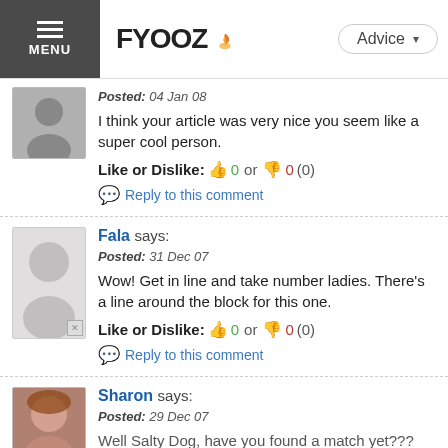FYOOZ — Advice
Posted: 04 Jan 08
I think your article was very nice you seem like a super cool person.
Like or Dislike: 0 or 0 (0)
Reply to this comment
Fala says:
Posted: 31 Dec 07
Wow! Get in line and take number ladies. There's a line around the block for this one.
Like or Dislike: 0 or 0 (0)
Reply to this comment
Sharon says:
Posted: 29 Dec 07
Well Salty Dog, have you found a match yet???